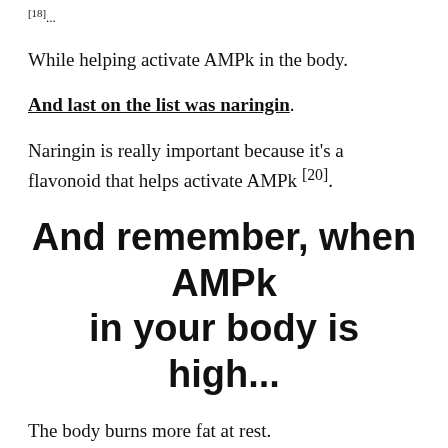[18]...
While helping activate AMPk in the body.
And last on the list was naringin.
Naringin is really important because it's a flavonoid that helps activate AMPk [20].
And remember, when AMPk in your body is high...
The body burns more fat at rest.
In other words, your fat-burning metabolism increases...